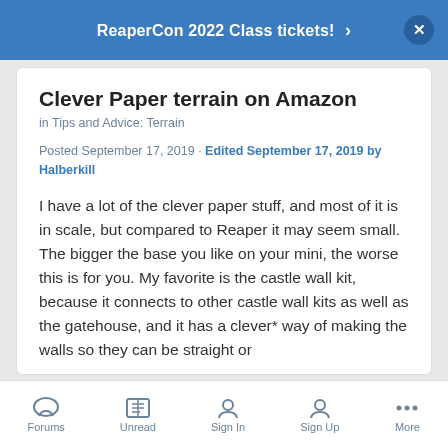ReaperCon 2022 Class tickets!
Clever Paper terrain on Amazon
in Tips and Advice: Terrain
Posted September 17, 2019 · Edited September 17, 2019 by Halberkill
I have a lot of the clever paper stuff, and most of it is in scale, but compared to Reaper it may seem small. The bigger the base you like on your mini, the worse this is for you. My favorite is the castle wall kit, because it connects to other castle wall kits as well as the gatehouse, and it has a clever* way of making the walls so they can be straight or
Forums  Unread  Sign In  Sign Up  More